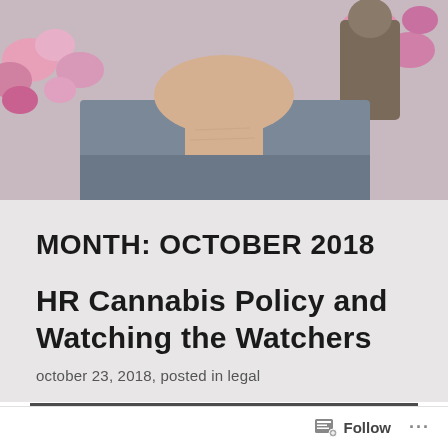[Figure (photo): Top portion of a person wearing a blue/grey shirt with flowers visible in the background]
MONTH: OCTOBER 2018
HR Cannabis Policy and Watching the Watchers
october 23, 2018, posted in legal
[Figure (photo): Blurred interior scene, appears to be a workspace or desk area]
Follow ...